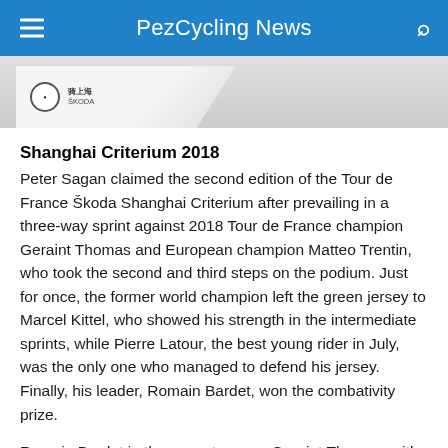PezCycling News
[Figure (photo): Partial banner image showing a cycling event logo/sponsor badge on a grey background]
Shanghai Criterium 2018
Peter Sagan claimed the second edition of the Tour de France Škoda Shanghai Criterium after prevailing in a three-way sprint against 2018 Tour de France champion Geraint Thomas and European champion Matteo Trentin, who took the second and third steps on the podium. Just for once, the former world champion left the green jersey to Marcel Kittel, who showed his strength in the intermediate sprints, while Pierre Latour, the best young rider in July, was the only one who managed to defend his jersey. Finally, his leader, Romain Bardet, won the combativity prize.
Romain Bardet in the same team as Geraint Thomas, with the Tour de France champion facing off against lieutenant Jonathan Castroviejo. Someone had to come up with this, and it was the Chinese fans that did so, choosing the composition of the two